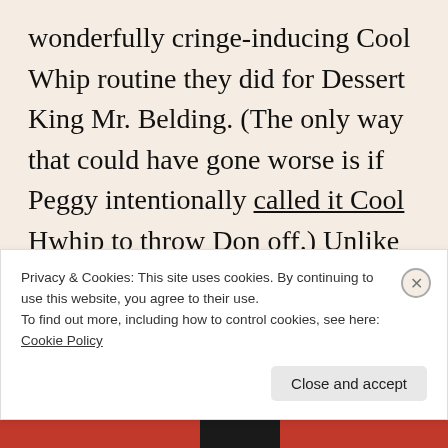wonderfully cringe-inducing Cool Whip routine they did for Dessert King Mr. Belding. (The only way that could have gone worse is if Peggy intentionally called it Cool Hwhip to throw Don off.) Unlike Heinz, Peggy's not a fan of the Don/Megan pitching team, preferring the old professional Draper to the new happy one, and this finally gave her a venue to get that
Privacy & Cookies: This site uses cookies. By continuing to use this website, you agree to their use. To find out more, including how to control cookies, see here: Cookie Policy